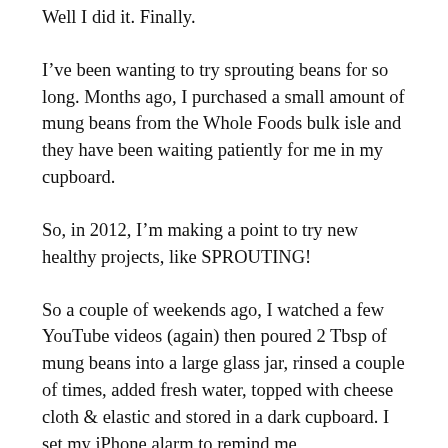Well I did it. Finally.
I've been wanting to try sprouting beans for so long. Months ago, I purchased a small amount of mung beans from the Whole Foods bulk isle and they have been waiting patiently for me in my cupboard.
So, in 2012, I'm making a point to try new healthy projects, like SPROUTING!
So a couple of weekends ago, I watched a few YouTube videos (again) then poured 2 Tbsp of mung beans into a large glass jar, rinsed a couple of times, added fresh water, topped with cheese cloth & elastic and stored in a dark cupboard. I set my iPhone alarm to remind me